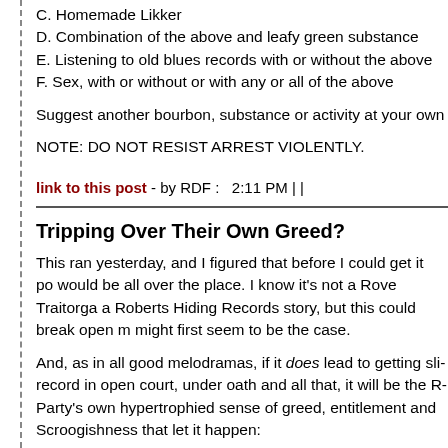C. Homemade Likker
D. Combination of the above and leafy green substance
E. Listening to old blues records with or without the above
F. Sex, with or without or with any or all of the above
Suggest another bourbon, substance or activity at your own
NOTE: DO NOT RESIST ARREST VIOLENTLY.
link to this post - by RDF :   2:11 PM | |
Tripping Over Their Own Greed?
This ran yesterday, and I figured that before I could get it po- would be all over the place. I know it's not a Rove Traitorga- a Roberts Hiding Records story, but this could break open m- might first seem to be the case.
And, as in all good melodramas, if it does lead to getting sli- record in open court, under oath and all that, it will be the R- Party's own hypertrophied sense of greed, entitlement and Scroogishness that let it happen:
(via Richmond VA Times-Dispatch)